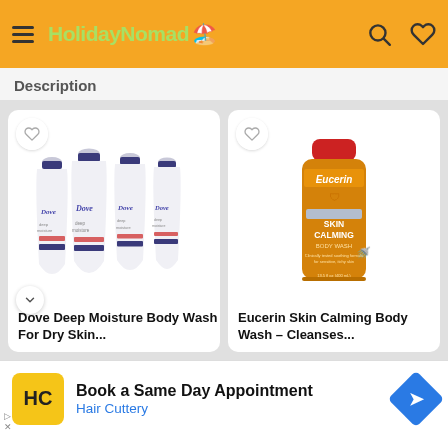HolidayNomad
Description
[Figure (photo): Four Dove Deep Moisture Body Wash bottles, white with blue caps, arranged side by side]
Dove Deep Moisture Body Wash For Dry Skin...
[Figure (photo): Eucerin Skin Calming Body Wash bottle in orange/amber color with red cap]
Eucerin Skin Calming Body Wash – Cleanses...
Book a Same Day Appointment
Hair Cuttery